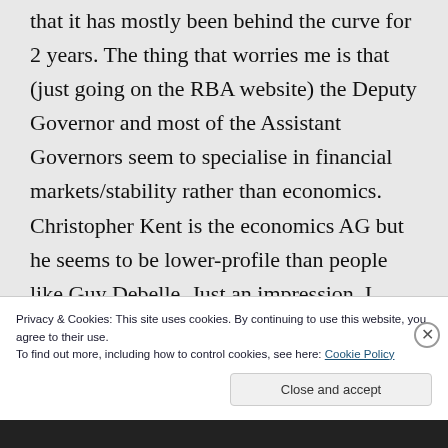that it has mostly been behind the curve for 2 years. The thing that worries me is that (just going on the RBA website) the Deputy Governor and most of the Assistant Governors seem to specialise in financial markets/stability rather than economics. Christopher Kent is the economics AG but he seems to be lower-profile than people like Guy Debelle. Just an impression. I
Privacy & Cookies: This site uses cookies. By continuing to use this website, you agree to their use.
To find out more, including how to control cookies, see here: Cookie Policy